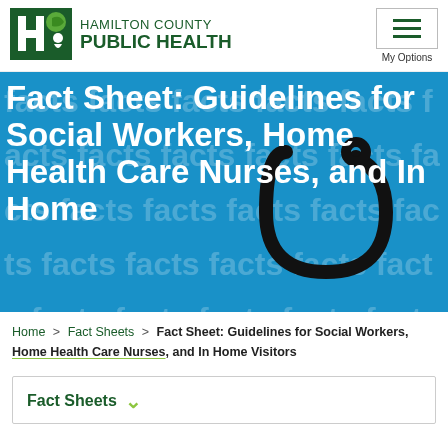Hamilton County Public Health
[Figure (logo): Hamilton County Public Health logo with green H and leaf icon]
Fact Sheet: Guidelines for Social Workers, Home Health Care Nurses, and In Home
Home > Fact Sheets > Fact Sheet: Guidelines for Social Workers, Home Health Care Nurses, and In Home Visitors
Fact Sheets